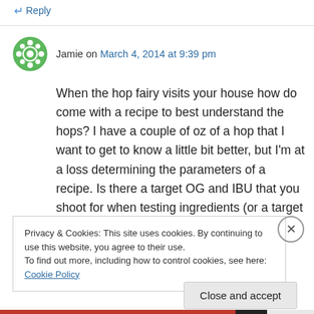↵ Reply
Jamie on March 4, 2014 at 9:39 pm
When the hop fairy visits your house how do come with a recipe to best understand the hops? I have a couple of oz of a hop that I want to get to know a little bit better, but I'm at a loss determining the parameters of a recipe. Is there a target OG and IBU that you shoot for when testing ingredients (or a target percentage for
Privacy & Cookies: This site uses cookies. By continuing to use this website, you agree to their use.
To find out more, including how to control cookies, see here: Cookie Policy